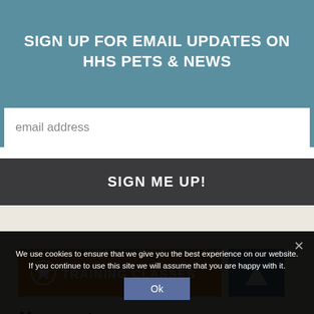SIGN UP FOR EMAIL UPDATES ON HHS PETS & NEWS
email address
SIGN ME UP!
[Figure (screenshot): Orange button with a star-circle icon and text 'TRAINING CLASSES', and a teal box with an upward arrow on the right]
More posts
We use cookies to ensure that we give you the best experience on our website. If you continue to use this site we will assume that you are happy with it.
Ok